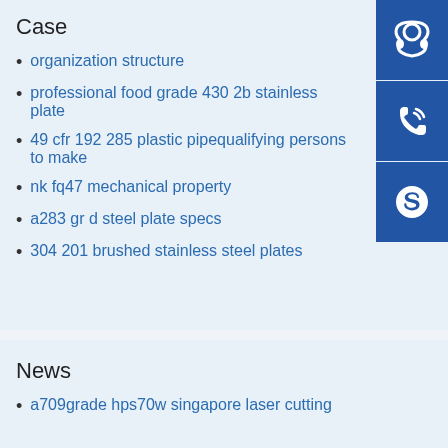Case
organization structure
professional food grade 430 2b stainless plate
49 cfr 192 285 plastic pipequalifying persons to make
nk fq47 mechanical property
a283 gr d steel plate specs
304 201 brushed stainless steel plates
News
a709grade hps70w singapore laser cutting